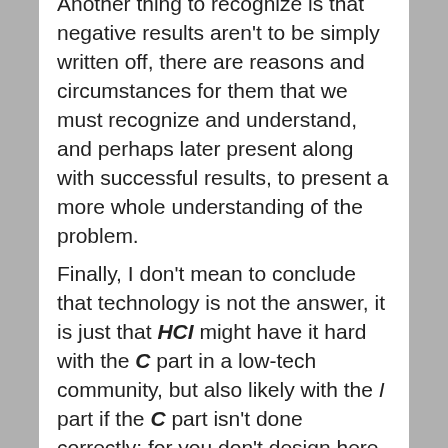Another thing to recognize is that negative results aren't to be simply written off, there are reasons and circumstances for them that we must recognize and understand, and perhaps later present along with successful results, to present a more whole understanding of the problem.
Finally, I don't mean to conclude that technology is not the answer, it is just that HCI might have it hard with the C part in a low-tech community, but also likely with the I part if the C part isn't done correctly; for you don't design here like you design